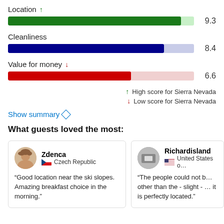[Figure (bar-chart): Location, Cleanliness, Value for money scores]
↑ High score for Sierra Nevada
↓ Low score for Sierra Nevada
Show summary ◇
What guests loved the most:
Zdenca
Czech Republic
"Good location near the ski slopes. Amazing breakfast choice in the morning."
Richardisland
United States of ...
"The people could not be... other than the - slight - ... it is perfectly located."